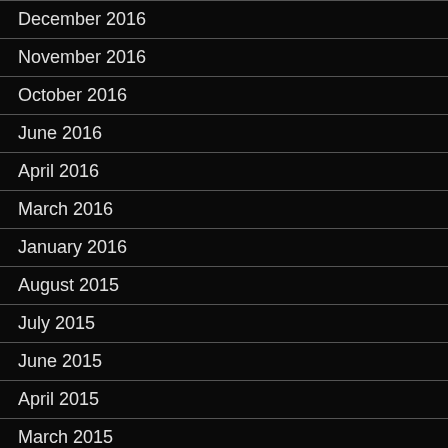December 2016
November 2016
October 2016
June 2016
April 2016
March 2016
January 2016
August 2015
July 2015
June 2015
April 2015
March 2015
February 2015